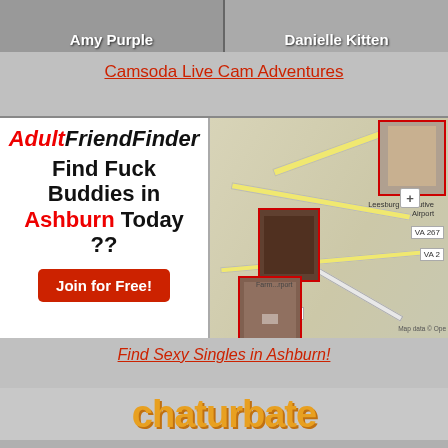[Figure (photo): Two thumbnail images side by side: Amy Purple on the left, Danielle Kitten on the right, with names overlaid at the bottom of each thumbnail.]
Camsoda Live Cam Adventures
[Figure (infographic): AdultFriendFinder advertisement with logo, text 'Find Fuck Buddies in Ashburn Today ??' and a red 'Join for Free!' button on the left; a map showing Ashburn/Leesburg area with pinned profile photos on the right.]
Find Sexy Singles in Ashburn!
[Figure (logo): Chaturbate logo in orange/yellow with decorative font, partially visible at the bottom.]